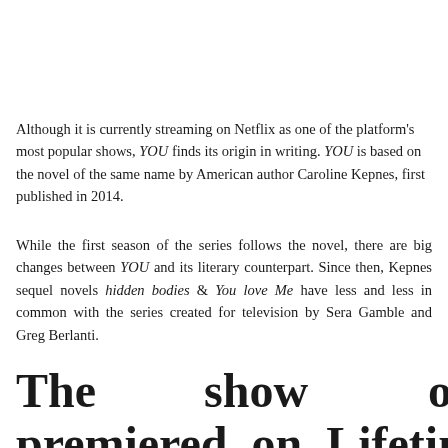Although it is currently streaming on Netflix as one of the platform's most popular shows, YOU finds its origin in writing. YOU is based on the novel of the same name by American author Caroline Kepnes, first published in 2014.
While the first season of the series follows the novel, there are big changes between YOU and its literary counterpart. Since then, Kepnes sequel novels hidden bodies & You love Me have less and less in common with the series created for television by Sera Gamble and Greg Berlanti.
The show originally premiered on Lifetime, not